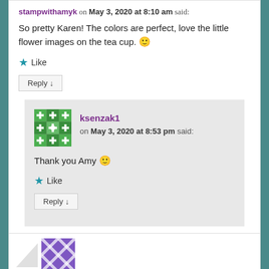stampwithamyk on May 3, 2020 at 8:10 am said:
So pretty Karen! The colors are perfect, love the little flower images on the tea cup. 🙂
Like
Reply ↓
ksenzak1
on May 3, 2020 at 8:53 pm said:
Thank you Amy 🙂
Like
Reply ↓